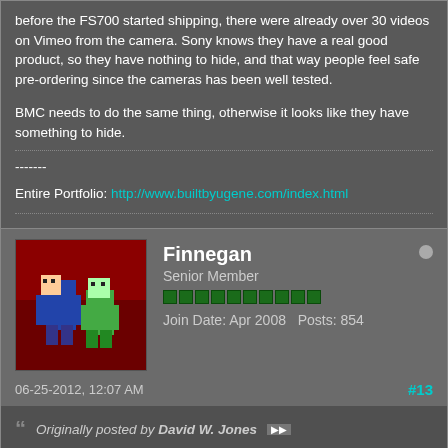before the FS700 started shipping, there were already over 30 videos on Vimeo from the camera. Sony knows they have a real good product, so they have nothing to hide, and that way people feel safe pre-ordering since the cameras has been well tested.
BMC needs to do the same thing, otherwise it looks like they have something to hide.
-------
Entire Portfolio: http://www.builtbyugene.com/index.html
Finnegan
Senior Member
Join Date: Apr 2008   Posts: 854
06-25-2012, 12:07 AM
#13
Originally posted by David W. Jones
Let's not spread misinformation. The sensor is larger than S16mm, and the crop factor is not 3X.

Its a 2.3x crop when compared to a full frame 35mm still, 1.6x